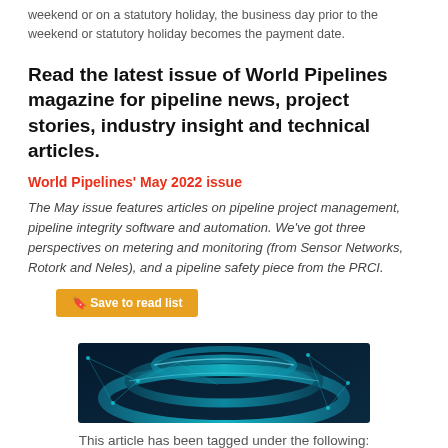weekend or on a statutory holiday, the business day prior to the weekend or statutory holiday becomes the payment date.
Read the latest issue of World Pipelines magazine for pipeline news, project stories, industry insight and technical articles.
World Pipelines' May 2022 issue
The May issue features articles on pipeline project management, pipeline integrity software and automation. We've got three perspectives on metering and monitoring (from Sensor Networks, Rotork and Neles), and a pipeline safety piece from the PRCI.
[Figure (screenshot): Dark blue digital pipeline illustration with glowing cyan geometric network lines]
This article has been tagged under the following: